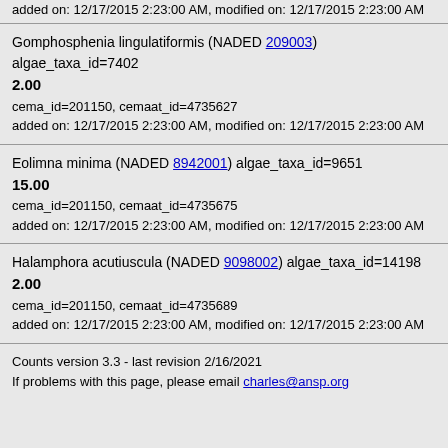added on: 12/17/2015 2:23:00 AM, modified on: 12/17/2015 2:23:00 AM
Gomphosphenia lingulatiformis (NADED 209003) algae_taxa_id=7402
2.00
cema_id=201150, cemaat_id=4735627
added on: 12/17/2015 2:23:00 AM, modified on: 12/17/2015 2:23:00 AM
Eolimna minima (NADED 8942001) algae_taxa_id=9651
15.00
cema_id=201150, cemaat_id=4735675
added on: 12/17/2015 2:23:00 AM, modified on: 12/17/2015 2:23:00 AM
Halamphora acutiuscula (NADED 9098002) algae_taxa_id=14198
2.00
cema_id=201150, cemaat_id=4735689
added on: 12/17/2015 2:23:00 AM, modified on: 12/17/2015 2:23:00 AM
Counts version 3.3 - last revision 2/16/2021
If problems with this page, please email charles@ansp.org